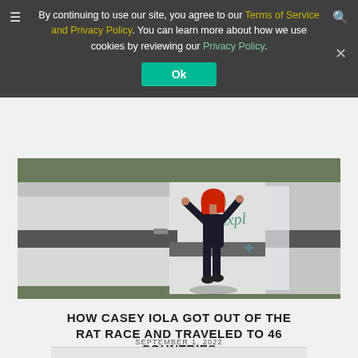By continuing to use our site, you agree to our Terms of Service and Privacy Policy. You can learn more about how we use cookies by reviewing our Privacy Policy.
Ok
[Figure (photo): Woman with red hair standing with arms raised in the doorway of a white camper van with 'Explore' written on it]
HOW CASEY IOLA GOT OUT OF THE RAT RACE AND TRAVELED TO 46 COUNTRIES
SEPTEMBER 1, 2022
[Figure (logo): Best Hospitals badge/logo at bottom of page]